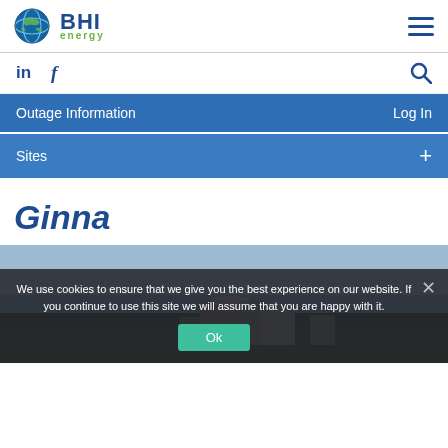[Figure (logo): BHI Energy logo with globe icon, blue BHI text and green 'energy' text]
in  f
Outage Information    Log In
Sites    +
Ginna
[Figure (photo): Aerial photo of Ginna nuclear power plant near a body of water with a cookie consent overlay]
We use cookies to ensure that we give you the best experience on our website. If you continue to use this site we will assume that you are happy with it.
Ok